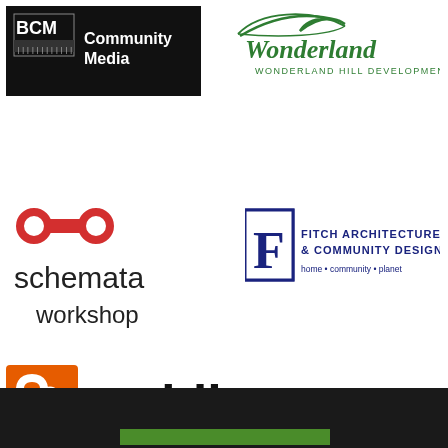[Figure (logo): BCM Community Media logo — black background with white text]
[Figure (logo): Wonderland Hill Development Co logo — green cursive text with swoosh]
[Figure (logo): Schemata Workshop logo — red abstract icon above lowercase text]
[Figure (logo): Fitch Architecture & Community Design logo — navy blue serif text with F icon]
[Figure (logo): Caddis logo — orange square icon with n-shape and bold black text]